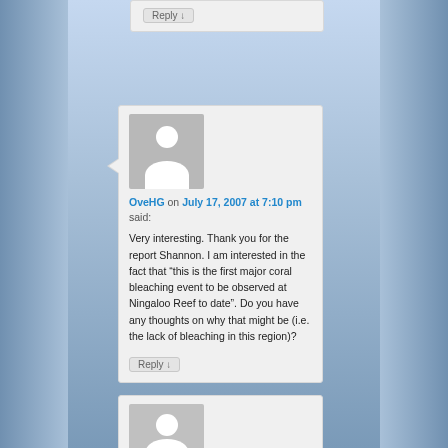Reply ↓
OveHG on July 17, 2007 at 7:10 pm said:
Very interesting. Thank you for the report Shannon. I am interested in the fact that “this is the first major coral bleaching event to be observed at Ningaloo Reef to date”. Do you have any thoughts on why that might be (i.e. the lack of bleaching in this region)?
Reply ↓